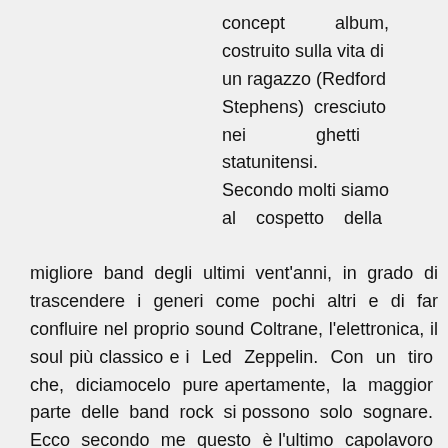concept album, costruito sulla vita di un ragazzo (Redford Stephens) cresciuto nei ghetti statunitensi. Secondo molti siamo al cospetto della migliore band degli ultimi vent'anni, in grado di trascendere i generi come pochi altri e di far confluire nel proprio sound Coltrane, l'elettronica, il soul più classico e i Led Zeppelin. Con un tiro che, diciamocelo pure apertamente, la maggior parte delle band rock si possono solo sognare. Ecco secondo me questo è l'ultimo capolavoro di un gruppo, che in fondo è autenticamente Hip Hop, grazie a uno dei primi 5 rapper della storia come Black Thought – che qui sfodera una serie di vittorie come si deve da principi di Scottie...